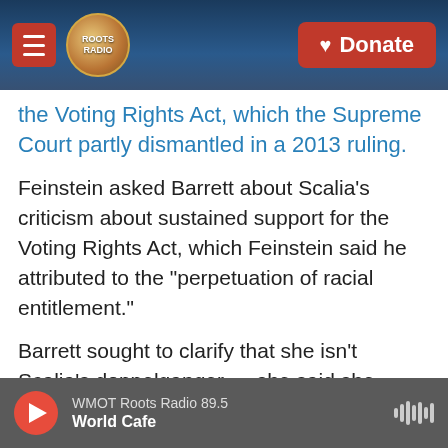[Figure (screenshot): Website navigation bar with hamburger menu (red), Roots Radio logo (circular), and red Donate button with heart icon, overlaid on a guitar/music background image]
the Voting Rights Act, which the Supreme Court partly dismantled in a 2013 ruling.
Feinstein asked Barrett about Scalia's criticism about sustained support for the Voting Rights Act, which Feinstein said he attributed to the "perpetuation of racial entitlement."
Barrett sought to clarify that she isn't Scalia's doppelganger — she said she shares his underlying philosophy but she wouldn't simply be a carbon copy of him on the Supreme Court. And she returned to her stock response in addressing the substance of Feinstein's question: that she won't
[Figure (screenshot): Audio player bar at the bottom showing a red circular play button, station name 'WMOT Roots Radio 89.5', program name 'World Cafe', and waveform/audio icon on the right]